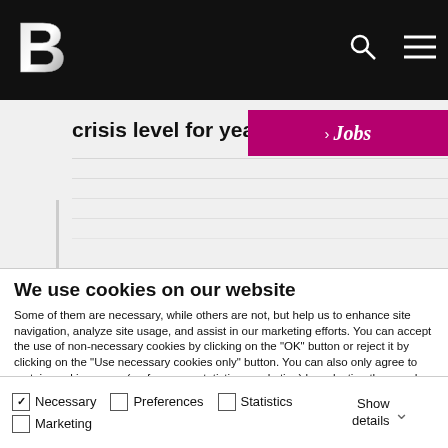B [logo] | search | menu
crisis level for years
[Figure (other): Jobs banner with magenta background and arrow]
We use cookies on our website
Some of them are necessary, while others are not, but help us to enhance site navigation, analyze site usage, and assist in our marketing efforts. You can accept the use of non-necessary cookies by clicking on the "OK" button or reject it by clicking on the "Use necessary cookies only" button. You can also only agree to certain cookie groups (preferences, statistics, marketing) by selecting them and clicking "Allow selection". You can access the cookie settings at any time and also deselect cookies later on at any time. To do so, please go to our Privacy Policy, which contains further information and can be found in the footer of our website. Show Legal.
OK
Allow selection
Use necessary cookies only
✓ Necessary
Preferences
Statistics
Marketing
Show details